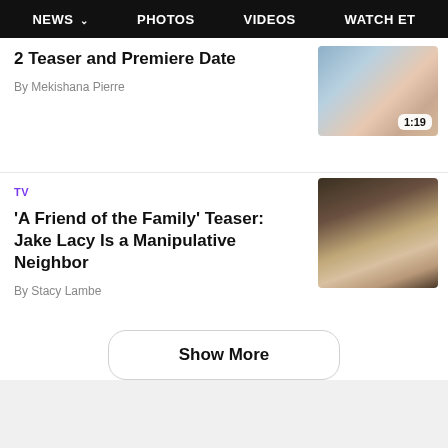NEWS   PHOTOS   VIDEOS   WATCH ET
2 Teaser and Premiere Date
By Mekishana Pierre
[Figure (photo): Video thumbnail showing group of people in a classroom setting, with duration badge 1:19]
TV
'A Friend of the Family' Teaser: Jake Lacy Is a Manipulative Neighbor
By Stacy Lambe
[Figure (photo): Video thumbnail showing a man in a light patterned shirt in a dark interior setting]
Show More